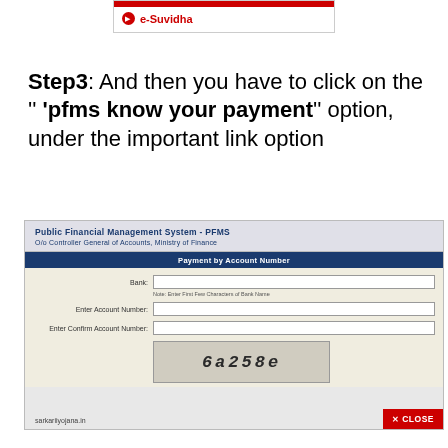[Figure (screenshot): Partial screenshot showing e-Suvidha link with red bar at top]
Step3: And then you have to click on the '' 'pfms know your payment'' option, under the important link option
[Figure (screenshot): PFMS Public Financial Management System form screenshot showing Payment by Account Number form with Bank field, Enter Account Number, Enter Confirm Account Number, and captcha 6a258e. Watermark sarkariiyojana.in. Close button bottom right.]